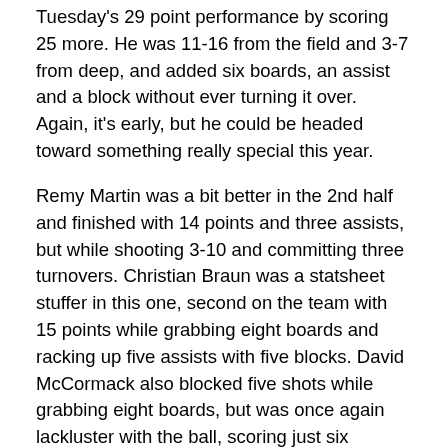Tuesday's 29 point performance by scoring 25 more. He was 11-16 from the field and 3-7 from deep, and added six boards, an assist and a block without ever turning it over. Again, it's early, but he could be headed toward something really special this year.
Remy Martin was a bit better in the 2nd half and finished with 14 points and three assists, but while shooting 3-10 and committing three turnovers. Christian Braun was a statsheet stuffer in this one, second on the team with 15 points while grabbing eight boards and racking up five assists with five blocks. David McCormack also blocked five shots while grabbing eight boards, but was once again lackluster with the ball, scoring just six against a much smaller team (though to be fair, they frequently swarmed him once he got the ball).